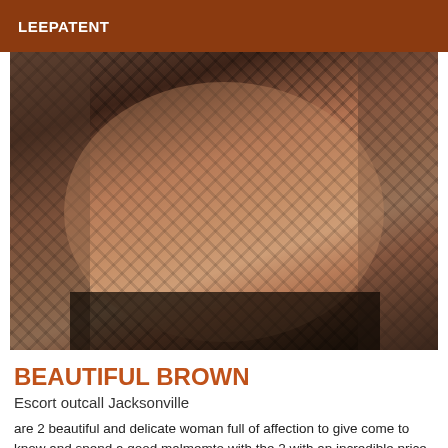LEEPATENT
[Figure (photo): Photo of a woman wearing a black fishnet bodysuit, posing in a room. The image shows the lower torso and legs area.]
BEAUTIFUL BROWN
Escort outcall Jacksonville
are 2 beautiful and delicate woman full of affection to give come to know and spend a good malmemto with the 2 with an incredible price d 130roses for half an hour and 240 for an hour a good ultimate massage 4 manos